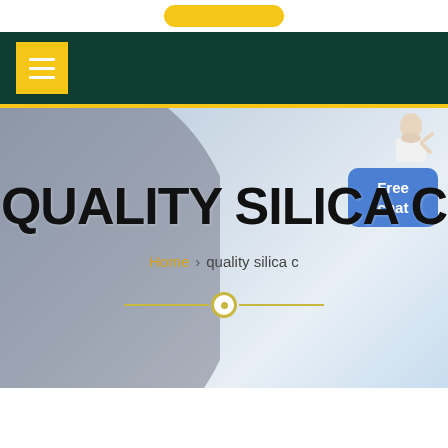[Figure (screenshot): Website screenshot showing a navigation header with dark green background and yellow hamburger menu button, followed by a hero section with 'QUALITY SILICA C' title, breadcrumb navigation showing 'Home > quality silica c', a decorative divider with circle, and a blue 'Free chat' button with a person image in the top right corner.]
QUALITY SILICA C
Home > quality silica c